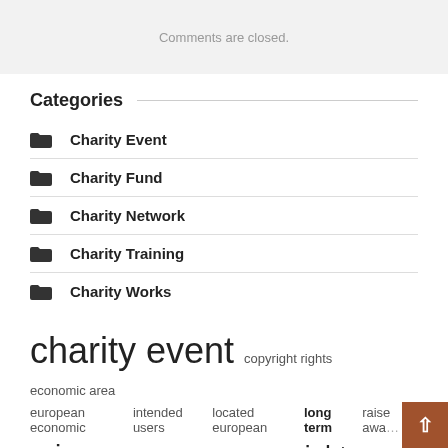Comments are closed.
Categories
Charity Event
Charity Fund
Charity Network
Charity Training
Charity Works
charity event   copyright rights   economic area   european economic   intended users   located european   long term   raise aware   raise funds   raise money   reserved website   rights reserve